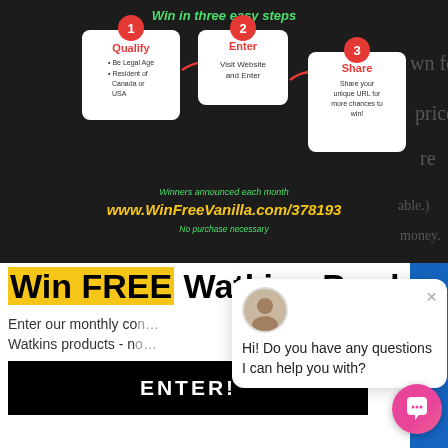[Figure (infographic): Dark background promotional banner showing 'Win in three easy steps' with steps: 1 Qualify (Be Legal Age, Resident of Canada or USA), 2 Enter (Visit Website and Enter), 3 Share (Share your unique URL for more chances to win!). Bottom shows 'Winners announced each month', URL 'www.WinFreeVanilla.com/378193', and 'No purchase necessary'. Vanilla products shown around edges.]
Win FREE Watkins Products!
Enter our monthly con... Watkins products - n...
ENTER!
Hi! Do you have any questions I can help you with?